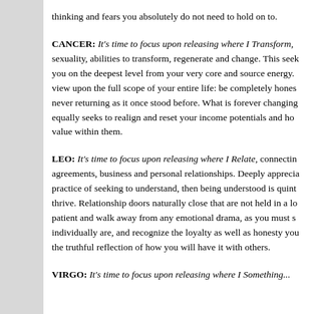thinking and fears you absolutely do not need to hold on to.
CANCER: It's time to focus upon releasing where I Transform, sexuality, abilities to transform, regenerate and change. This seeks you on the deepest level from your very core and source energy. view upon the full scope of your entire life: be completely hones never returning as it once stood before. What is forever changing equally seeks to realign and reset your income potentials and how value within them.
LEO: It's time to focus upon releasing where I Relate, connecting agreements, business and personal relationships. Deeply apprecia practice of seeking to understand, then being understood is quint thrive. Relationship doors naturally close that are not held in a lo patient and walk away from any emotional drama, as you must s individually are, and recognize the loyalty as well as honesty you the truthful reflection of how you will have it with others.
VIRGO: It's time to focus upon releasing where I Something...